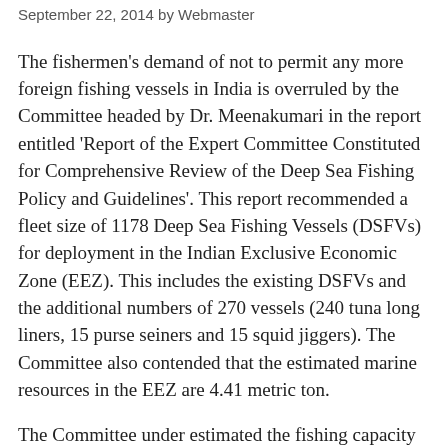September 22, 2014 by Webmaster
The fishermen's demand of not to permit any more foreign fishing vessels in India is overruled by the Committee headed by Dr. Meenakumari in the report entitled 'Report of the Expert Committee Constituted for Comprehensive Review of the Deep Sea Fishing Policy and Guidelines'. This report recommended a fleet size of 1178 Deep Sea Fishing Vessels (DSFVs) for deployment in the Indian Exclusive Economic Zone (EEZ). This includes the existing DSFVs and the additional numbers of 270 vessels (240 tuna long liners, 15 purse seiners and 15 squid jiggers). The Committee also contended that the estimated marine resources in the EEZ are 4.41 metric ton.
The Committee under estimated the fishing capacity and expertise of the Indian fishermen. The contention of Committee is that Indian fishermen are not trained to work on DSFVs, and recommended for the